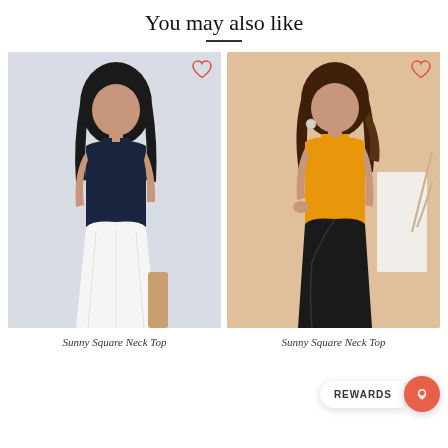You may also like
[Figure (photo): Woman wearing a navy blue square neck top with a white flowing skirt, posed in a light grey studio setting. A wishlist heart icon appears in the top right corner of the product card.]
[Figure (photo): Woman wearing a mustard yellow square neck top with a black wrap skirt, posed against a warm beige/tan background with dried pampas decor. A wishlist heart icon appears in the top right corner of the product card.]
Sunny Square Neck Top
Sunny Square Neck Top